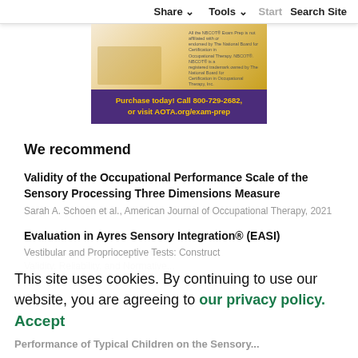Share  Tools  Start  Search Site
[Figure (illustration): Advertisement banner for AOTA NBCOT Exam Prep product with yellow/gold image of person using laptop and purple bottom bar. Text reads: Purchase today! Call 800-729-2682, or visit AOTA.org/exam-prep]
We recommend
Validity of the Occupational Performance Scale of the Sensory Processing Three Dimensions Measure
Sarah A. Schoen et al., American Journal of Occupational Therapy, 2021
Evaluation in Ayres Sensory Integration® (EASI)
Vestibular and Proprioceptive Tests: Construct Validity, Reliability, and Normative...
This site uses cookies. By continuing to use our website, you are agreeing to our privacy policy. Accept
Performance of Typical Children on the Sensory...